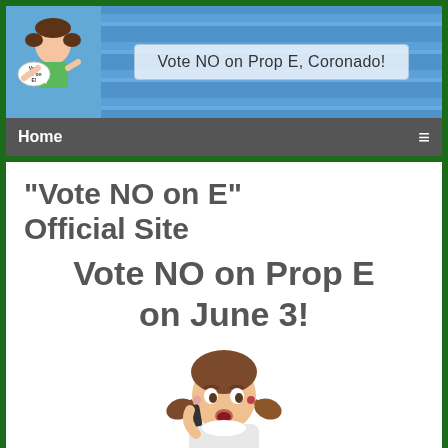[Figure (screenshot): Website header banner with a swimming pool background, a logo of a girl on the left, and a pill-shaped text box reading 'Vote NO on Prop E, Coronado!']
Home
“Vote NO on E” Official Site
Vote NO on Prop E on June 3!
[Figure (photo): A young girl with pigtails holding a phone to her ear, looking surprised, on a white background]